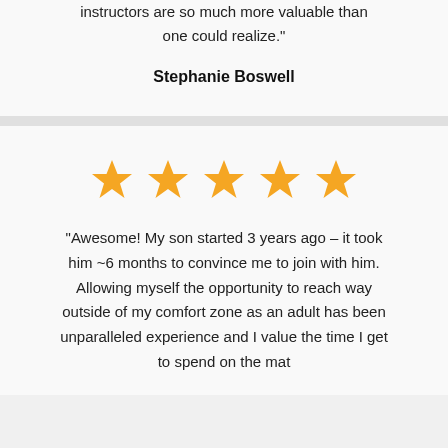instructors are so much more valuable than one could realize."
Stephanie Boswell
[Figure (infographic): Five orange star rating icons in a row]
"Awesome! My son started 3 years ago – it took him ~6 months to convince me to join with him. Allowing myself the opportunity to reach way outside of my comfort zone as an adult has been unparalleled experience and I value the time I get to spend on the mat